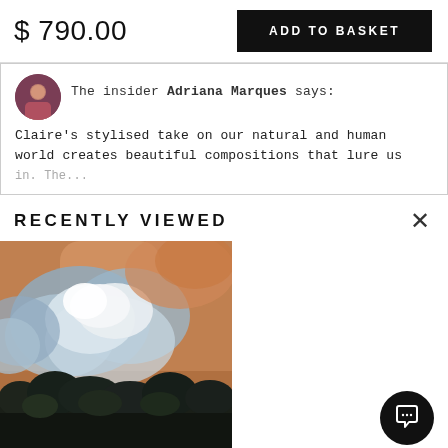$ 790.00
ADD TO BASKET
The insider Adriana Marques says:
Claire's stylised take on our natural and human world creates beautiful compositions that lure us
RECENTLY VIEWED
[Figure (photo): Abstract landscape painting with dark trees/foliage at the bottom and billowing cloud-like forms in blue, white, and warm orange tones above]
[Figure (other): Round black chat/messenger button with a white smiley/chat bubble icon]